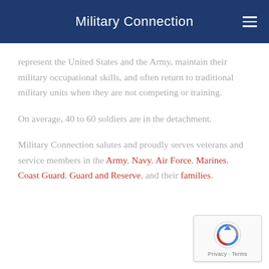Military Connection
represent the United States and the Army, maintain their military occupational skills, and often return to traditional military units when they are not competing or training.
On average, 40 to 60 soldiers are in the detachment.
Military Connection salutes and proudly serves veterans and service members in the Army, Navy, Air Force, Marines, Coast Guard, Guard and Reserve, and their families.
[Figure (other): reCAPTCHA badge with Privacy and Terms links]